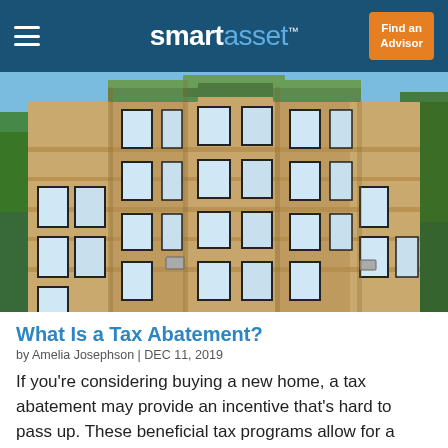smartasset™  Find an Advisor
[Figure (photo): Exterior of a multi-story brick apartment building with ornate green copper cornice, multiple windows, and a blue sky background with trees visible at edges.]
What Is a Tax Abatement?
by Amelia Josephson | DEC 11, 2019
If you're considering buying a new home, a tax abatement may provide an incentive that's hard to pass up. These beneficial tax programs allow for a long-term break on